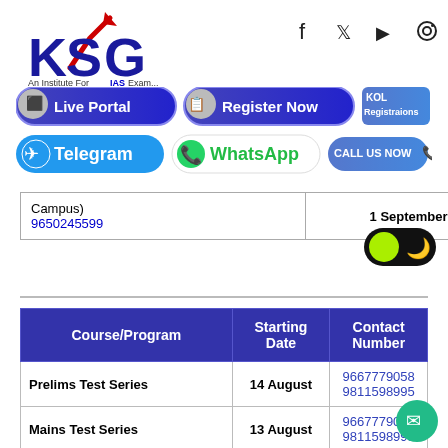[Figure (logo): KSG - An Institute For IAS Exam logo with red arrow]
[Figure (infographic): Social media icons: Facebook, Twitter, YouTube, Instagram]
[Figure (infographic): Navigation buttons: Live Portal, Register Now, KOL Registrations, Telegram, WhatsApp, CALL US NOW]
| Course/Program | Starting Date | Contact Number |
| --- | --- | --- |
| Campus) 9650245599 | 1 September | - |
| Course/Program | Starting Date | Contact Number |
| --- | --- | --- |
| Prelims Test Series | 14 August | 9667779058 9811598995 |
| Mains Test Series | 13 August | 9667779058 9811598995 |